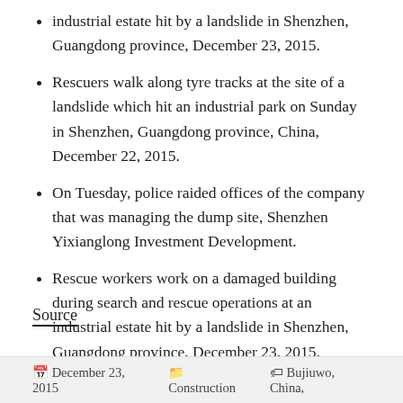industrial estate hit by a landslide in Shenzhen, Guangdong province, December 23, 2015.
Rescuers walk along tyre tracks at the site of a landslide which hit an industrial park on Sunday in Shenzhen, Guangdong province, China, December 22, 2015.
On Tuesday, police raided offices of the company that was managing the dump site, Shenzhen Yixianglong Investment Development.
Rescue workers work on a damaged building during search and rescue operations at an industrial estate hit by a landslide in Shenzhen, Guangdong province, December 23, 2015.
Source
December 23, 2015   Construction   Bujiuwo, China,